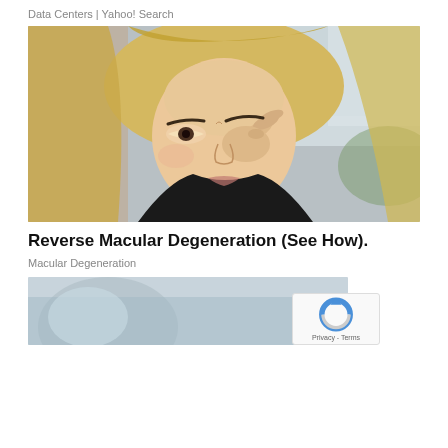Data Centers | Yahoo! Search
[Figure (photo): Blonde woman touching her eye with her hand, looking distressed, outdoor blurred background]
Reverse Macular Degeneration (See How).
Macular Degeneration
[Figure (photo): Partially visible second photo at bottom of page, blurred blue/grey tones]